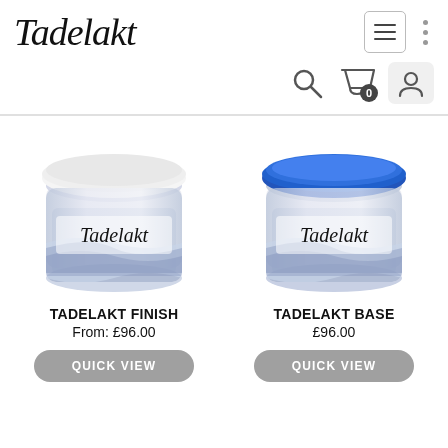Tadelakt
[Figure (screenshot): Website navigation bar with hamburger menu icon and vertical dots menu icon]
[Figure (screenshot): Navigation icons row: search magnifying glass, shopping bag with 0 badge, user/account icon]
[Figure (photo): Tadelakt Finish product - white bucket with white lid and Tadelakt logo/branding]
[Figure (photo): Tadelakt Base product - white bucket with blue lid and Tadelakt logo/branding]
TADELAKT FINISH
From: £96.00
TADELAKT BASE
£96.00
QUICK VIEW
QUICK VIEW